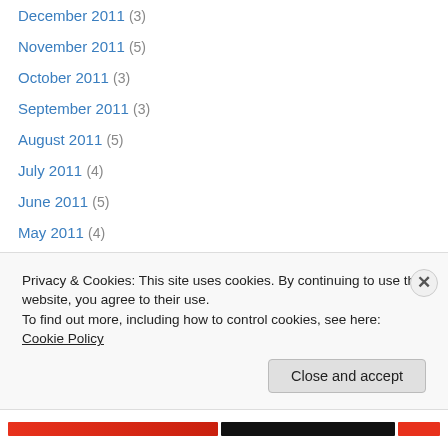December 2011 (3)
November 2011 (5)
October 2011 (3)
September 2011 (3)
August 2011 (5)
July 2011 (4)
June 2011 (5)
May 2011 (4)
April 2011 (5)
March 2011 (4)
February 2011 (4)
January 2011 (5)
December 2010 (3)
November 2010 (4)
Privacy & Cookies: This site uses cookies. By continuing to use this website, you agree to their use. To find out more, including how to control cookies, see here: Cookie Policy
Close and accept